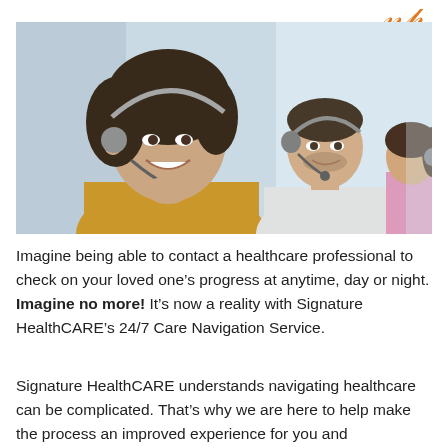[Figure (photo): Three call center / healthcare professionals wearing headsets, smiling and working. A woman with curly hair in foreground, a man in background center, and a woman on the right.]
Imagine being able to contact a healthcare professional to check on your loved oneâ€™s progress at anytime, day or night. Imagine no more! Itâ€™s now a reality with Signature HealthCAREâ€™s 24/7 Care Navigation Service.
Signature HealthCARE understands navigating healthcare can be complicated. Thatâ€™s why we are here to help make the process an improved experience for you and